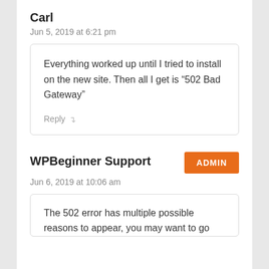Carl
Jun 5, 2019 at 6:21 pm
Everything worked up until I tried to install on the new site. Then all I get is “502 Bad Gateway”
Reply
WPBeginner Support
Jun 6, 2019 at 10:06 am
The 502 error has multiple possible reasons to appear, you may want to go